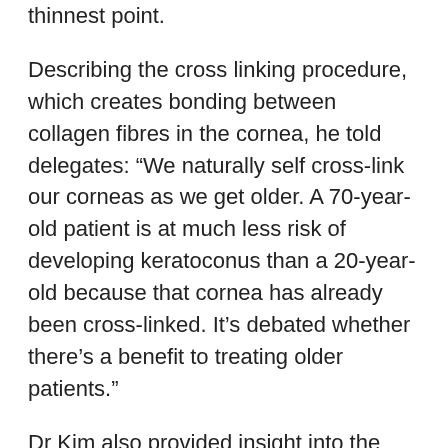thinnest point.
Describing the cross linking procedure, which creates bonding between collagen fibres in the cornea, he told delegates: “We naturally self cross-link our corneas as we get older. A 70-year-old patient is at much less risk of developing keratoconus than a 20-year-old because that cornea has already been cross-linked. It’s debated whether there’s a benefit to treating older patients.”
Dr Kim also provided insight into the debate around removal of the epithelium, explaining that riboflavin B2 penetrates the cornea better when it is removed. He added: “The problem is that some patients have had delayed healing